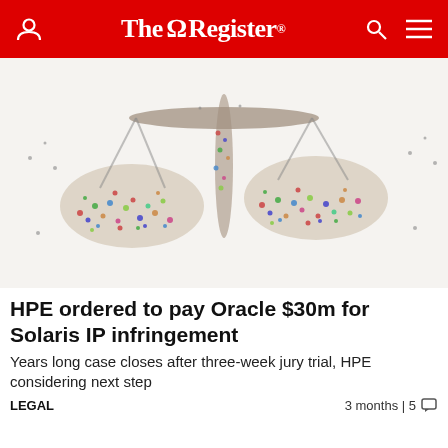The Register
[Figure (photo): Aerial view of a large crowd of people arranged to form the shape of scales of justice (balance scales), viewed from above against a white background.]
HPE ordered to pay Oracle $30m for Solaris IP infringement
Years long case closes after three-week jury trial, HPE considering next step
LEGAL    3 months | 5